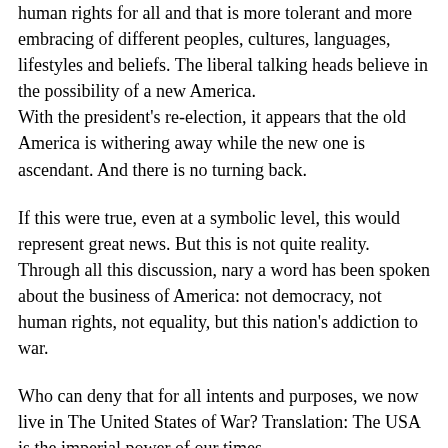human rights for all and that is more tolerant and more embracing of different peoples, cultures, languages, lifestyles and beliefs. The liberal talking heads believe in the possibility of a new America. With the president's re-election, it appears that the old America is withering away while the new one is ascendant. And there is no turning back.
If this were true, even at a symbolic level, this would represent great news. But this is not quite reality. Through all this discussion, nary a word has been spoken about the business of America: not democracy, not human rights, not equality, but this nation's addiction to war.
Who can deny that for all intents and purposes, we now live in The United States of War? Translation: The USA is the imperial power of our times.
Military weaponry, in effect, is this nation's number one